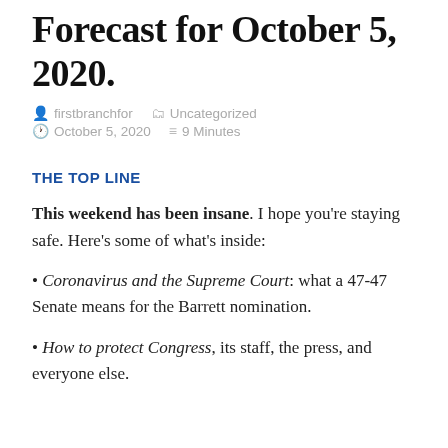Forecast for October 5, 2020.
firstbranchfor   Uncategorized   October 5, 2020   9 Minutes
THE TOP LINE
This weekend has been insane. I hope you're staying safe. Here's some of what's inside:
Coronavirus and the Supreme Court: what a 47-47 Senate means for the Barrett nomination.
How to protect Congress, its staff, the press, and everyone else.